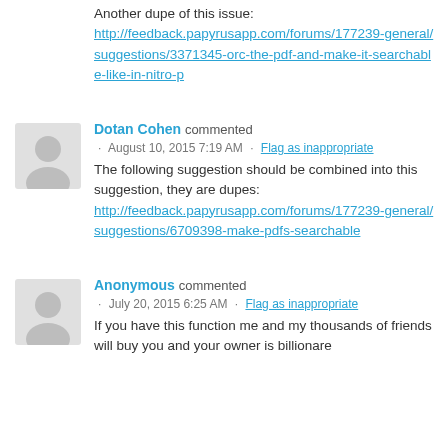Another dupe of this issue: http://feedback.papyrusapp.com/forums/177239-general/suggestions/3371345-orc-the-pdf-and-make-it-searchable-like-in-nitro-p
Dotan Cohen commented
· August 10, 2015 7:19 AM · Flag as inappropriate
The following suggestion should be combined into this suggestion, they are dupes: http://feedback.papyrusapp.com/forums/177239-general/suggestions/6709398-make-pdfs-searchable
Anonymous commented
· July 20, 2015 6:25 AM · Flag as inappropriate
If you have this function me and my thousands of friends will buy you and your owner is billionare